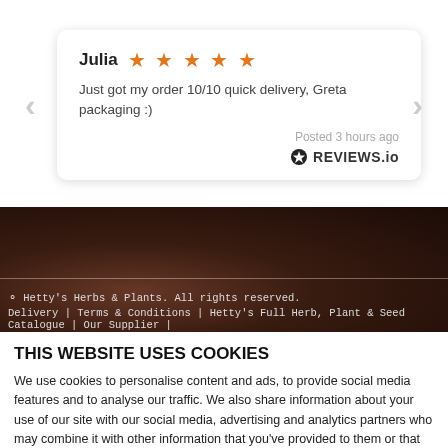[Figure (screenshot): Customer review card with name Julia, 5 orange stars, review text, posted time, and REVIEWS.io branding, with navigation arrows]
Julia ★★★★★
Just got my order 10/10 quick delivery, Greta packaging :)
Posted 3 hours ago
⊙ REVIEWS.io
[Figure (photo): Dark background showing herbs/seeds texture]
⊙ Hetty's Herbs & Plants. All rights reserved.
Delivery | Terms & Conditions | Hetty's Full Herb, Plant & Seed Catalogue | Our Supplier |
THIS WEBSITE USES COOKIES
We use cookies to personalise content and ads, to provide social media features and to analyse our traffic. We also share information about your use of our site with our social media, advertising and analytics partners who may combine it with other information that you've provided to them or that they've collected from your use of their services.
OK
Show details ∨